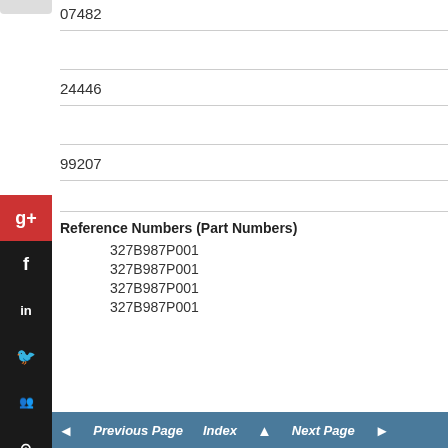07482
24446
99207
Reference Numbers (Part Numbers)
327B987P001
327B987P001
327B987P001
327B987P001
◄ Previous Page  Index ▲  Next Page ►